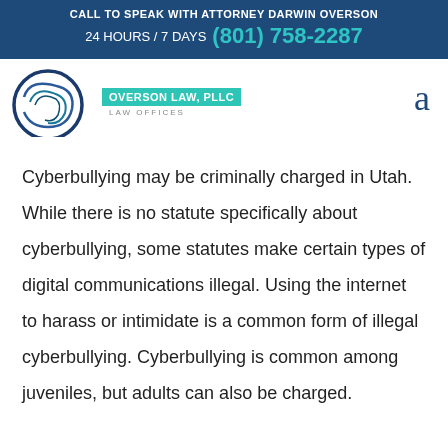CALL TO SPEAK WITH ATTORNEY DARWIN OVERSON
24 HOURS / 7 DAYS (801) 758-2287
[Figure (logo): Overson Law, PLLC law firm logo with circular swoosh design in blue and teal, with text 'OVERSON LAW, PLLC' on green/teal background and 'LAW OFFICES' below]
Cyberbullying may be criminally charged in Utah. While there is no statute specifically about cyberbullying, some statutes make certain types of digital communications illegal. Using the internet to harass or intimidate is a common form of illegal cyberbullying. Cyberbullying is common among juveniles, but adults can also be charged.